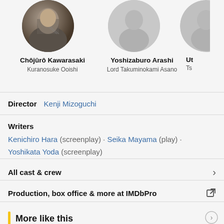[Figure (photo): Circular avatar photo of Chôjûrô Kawarasaki (black and white)]
Chôjûrô Kawarasaki
Kuranosuke Ooishi
[Figure (photo): Circular avatar placeholder for Yoshizaburo Arashi]
Yoshizaburo Arashi
Lord Takuminokami Asano
Ut
Ts
Director  Kenji Mizoguchi
Writers
Kenichiro Hara (screenplay) · Seika Mayama (play) · Yoshikata Yoda (screenplay)
All cast & crew
Production, box office & more at IMDbPro
More like this